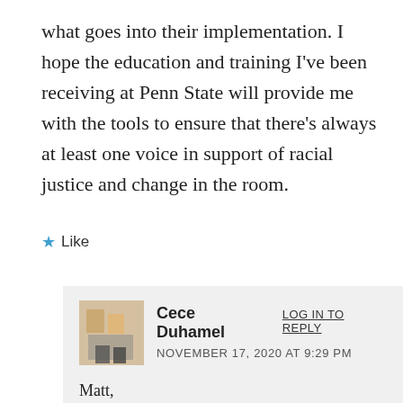what goes into their implementation. I hope the education and training I've been receiving at Penn State will provide me with the tools to ensure that there's always at least one voice in support of racial justice and change in the room.
★ Like
Cece Duhamel  LOG IN TO REPLY
NOVEMBER 17, 2020 AT 9:29 PM
Matt,

I was drawn to your personal experiences in regards to the small amount of interaction you received with the concept and actions of injustice